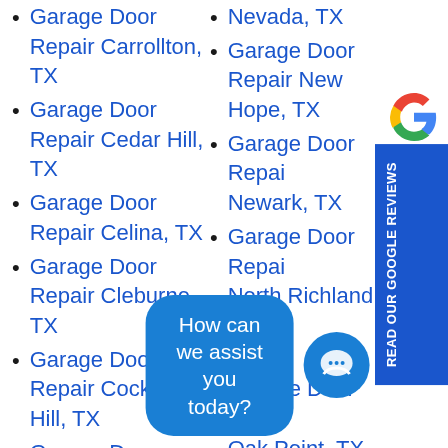Garage Door Repair Carrollton, TX
Garage Door Repair Cedar Hill, TX
Garage Door Repair Celina, TX
Garage Door Repair Cleburne, TX
Garage Door Repair Cockrell Hill, TX
Garage Door Repair Colleyville, TX
Garage Door Repair Coppell, TX
Garage Door Repair [partial]
Garage Door Repair Nevada, TX
Garage Door Repair New Hope, TX
Garage Door Repair Newark, TX
Garage Door Repair North Richland Hills, TX
Garage Door Repair Oak Point, TX
Garage Door Repair Ovilla, TX
Garage Door Repair [partial]
READ OUR GOOGLE REVIEWS
How can we assist you today?